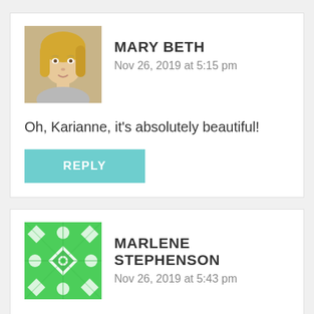[Figure (photo): Avatar photo of Mary Beth, a blonde woman]
MARY BETH
Nov 26, 2019 at 5:15 pm
Oh, Karianne, it's absolutely beautiful!
REPLY
[Figure (illustration): Green decorative tile/pattern avatar for Marlene Stephenson]
MARLENE STEPHENSON
Nov 26, 2019 at 5:43 pm
Your bedroom is a dream, no nightmares here just smiles!!! Have a very Happy Thanksgiving with all your family and pray safe if traveling.